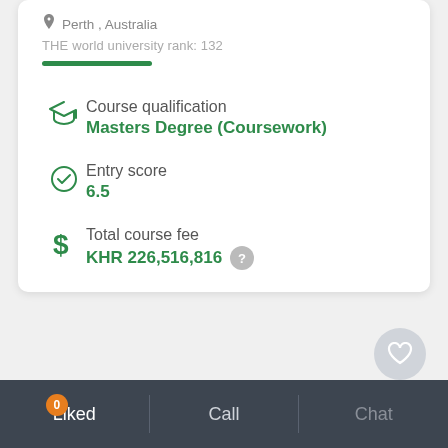Perth, Australia
THE world university rank: 132
Course qualification
Masters Degree (Coursework)
Entry score
6.5
Total course fee
KHR 226,516,816
Liked
Call
Chat